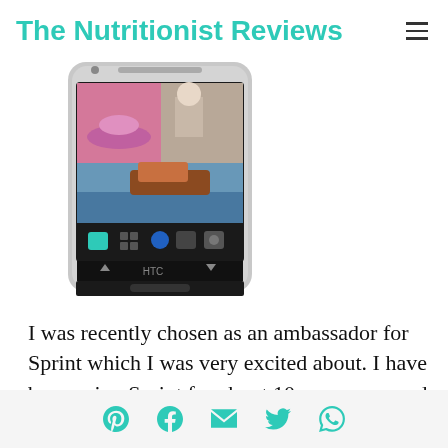The Nutritionist Reviews
[Figure (photo): HTC smartphone showing home screen with photo collage and app icons]
I was recently chosen as an ambassador for Sprint which I was very excited about. I have been using Sprint for about 10 years now and overall have been happy with the service. Through the next year, I will be reviewing
Social share icons: Pinterest, Facebook, Email, Twitter, WhatsApp